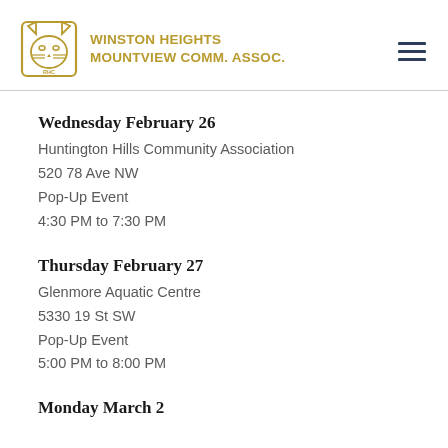WINSTON HEIGHTS MOUNTVIEW COMM. ASSOC.
Wednesday February 26
Huntington Hills Community Association
520 78 Ave NW
Pop-Up Event
4:30 PM to 7:30 PM
Thursday February 27
Glenmore Aquatic Centre
5330 19 St SW
Pop-Up Event
5:00 PM to 8:00 PM
Monday March 2